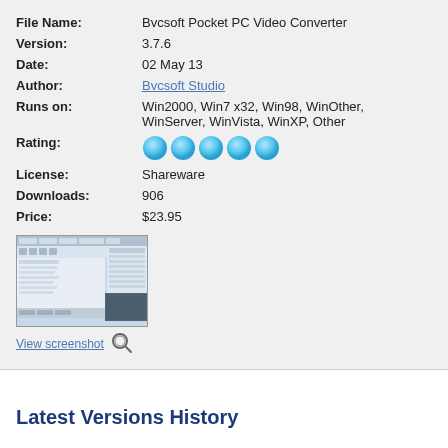| File Name: | Bvcsoft Pocket PC Video Converter |
| Version: | 3.7.6 |
| Date: | 02 May 13 |
| Author: | Bvcsoft Studio |
| Runs on: | Win2000, Win7 x32, Win98, WinOther, WinServer, WinVista, WinXP, Other |
| Rating: | ★★★★★ |
| License: | Shareware |
| Downloads: | 906 |
| Price: | $23.95 |
[Figure (screenshot): Screenshot of Bvcsoft Pocket PC Video Converter application]
View screenshot
Latest Versions History
| Version | Date Released | Release Notes |
| --- | --- | --- |